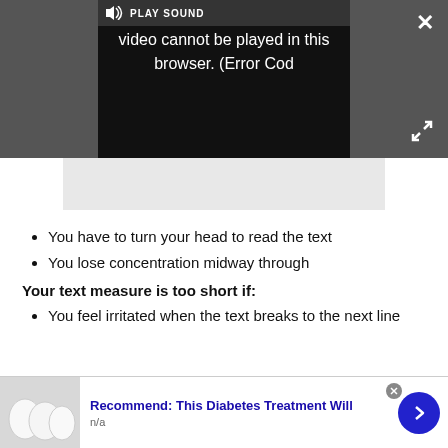[Figure (screenshot): Video player showing error message: 'Video cannot be played in this browser. (Error Cod' with PLAY SOUND label, speaker icon, close button (X), and expand button]
You have to turn your head to read the text
You lose concentration midway through
Your text measure is too short if:
You feel irritated when the text breaks to the next line
[Figure (screenshot): Ad banner: 'Recommend: This Diabetes Treatment Will' with thumbnail image of white eggs, n/a label, and blue arrow button]